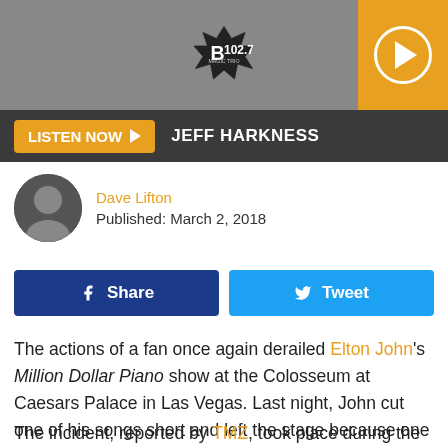B 102.7 | Listen Now | Jeff Harkness
Dave Lifton
Published: March 2, 2018
Share   Tweet
The actions of a fan once again derailed Elton John's Million Dollar Piano show at the Colosseum at Caesars Palace in Las Vegas. Last night, John cut one of his songs short and left the stage because one person attempted to disrupt him mid-song.

The incident, reported by TMZ, took place during the main set closer, "Saturday Night's Alright for Fighting," during which concertgoers in the first few rows are invited onto the